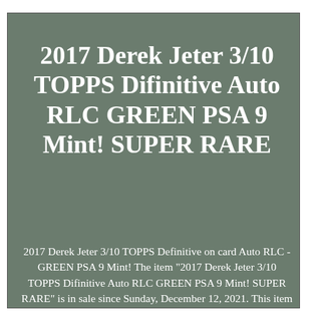2017 Derek Jeter 3/10 TOPPS Difinitive Auto RLC GREEN PSA 9 Mint! SUPER RARE
2017 Derek Jeter 3/10 TOPPS Definitive on card Auto RLC - GREEN PSA 9 Mint! The item "2017 Derek Jeter 3/10 TOPPS Difinitive Auto RLC GREEN PSA 9 Mint! SUPER RARE" is in sale since Sunday, December 12, 2021. This item